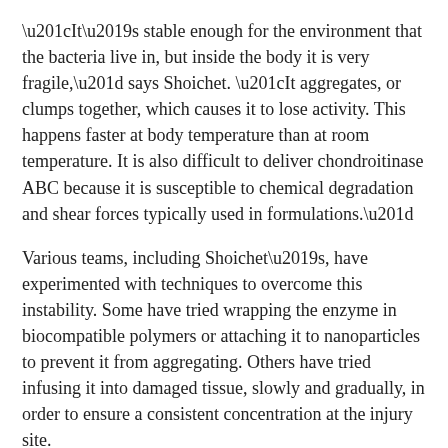“It’s stable enough for the environment that the bacteria live in, but inside the body it is very fragile,” says Shoichet. “It aggregates, or clumps together, which causes it to lose activity. This happens faster at body temperature than at room temperature. It is also difficult to deliver chondroitinase ABC because it is susceptible to chemical degradation and shear forces typically used in formulations.”
Various teams, including Shoichet’s, have experimented with techniques to overcome this instability. Some have tried wrapping the enzyme in biocompatible polymers or attaching it to nanoparticles to prevent it from aggregating. Others have tried infusing it into damaged tissue, slowly and gradually, in order to ensure a consistent concentration at the injury site.
But all of these approaches are mere Band-Aids since they don’t address the fundamental problem of instability.
In their latest paper, Shoichet and her collaborators tried a